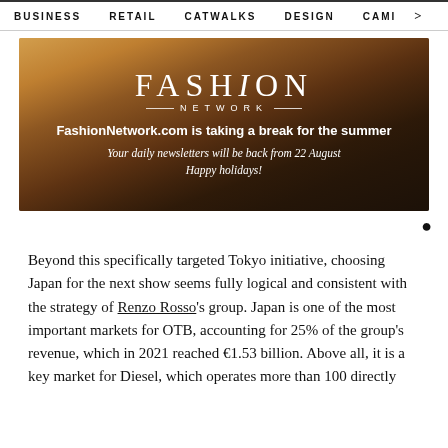BUSINESS   RETAIL   CATWALKS   DESIGN   CAMI   >
[Figure (photo): Fashion Network banner image showing three young women in a field at golden hour, with FASHION NETWORK logo overlay and text: FashionNetwork.com is taking a break for the summer / Your daily newsletters will be back from 22 August / Happy holidays!]
Beyond this specifically targeted Tokyo initiative, choosing Japan for the next show seems fully logical and consistent with the strategy of Renzo Rosso's group. Japan is one of the most important markets for OTB, accounting for 25% of the group's revenue, which in 2021 reached €1.53 billion. Above all, it is a key market for Diesel, which operates more than 100 directly